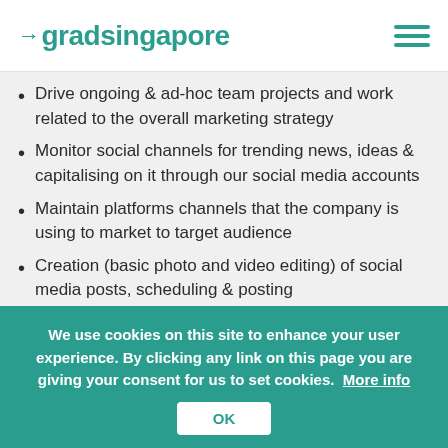gradsingapore
Drive ongoing & ad-hoc team projects and work related to the overall marketing strategy
Monitor social channels for trending news, ideas & capitalising on it through our social media accounts
Maintain platforms channels that the company is using to market to target audience
Creation (basic photo and video editing) of social media posts, scheduling & posting
Raise brand awareness for products in universities and polytechnics through on-the-
We use cookies on this site to enhance your user experience. By clicking any link on this page you are giving your consent for us to set cookies. More info